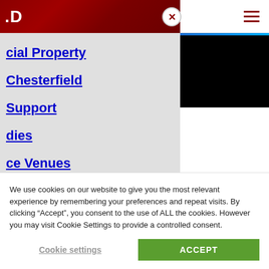LD
cial Property
Chesterfield
Support
dies
ce Venues
Events
We use cookies on our website to give you the most relevant experience by remembering your preferences and repeat visits. By clicking “Accept”, you consent to the use of ALL the cookies. However you may visit Cookie Settings to provide a controlled consent.
Cookie settings
ACCEPT